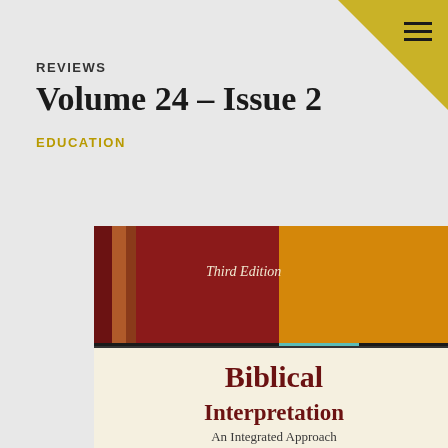REVIEWS
Volume 24 – Issue 2
EDUCATION
[Figure (photo): Book cover of 'Biblical Interpretation: An Integrated Approach, Third Edition'. The cover has a dark red and orange/yellow color block design on the upper half, with vertical stripe elements. The lower half is cream/beige colored with the title 'Biblical Interpretation' in large dark red serif font and subtitle 'An Integrated Approach' below it. 'Third Edition' appears in italic text in the upper left area.]